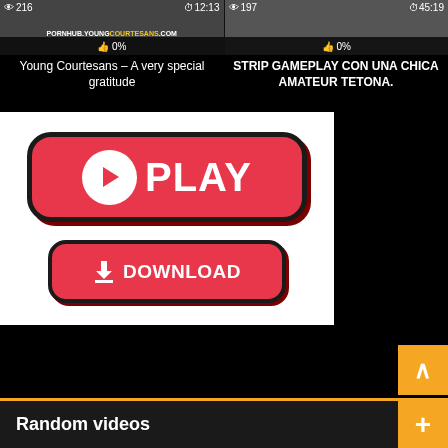[Figure (screenshot): Video thumbnail left: eye icon 216, clock 12:13, like 0%, watermark PORNHUB.YOUNGCOURTESANS.COM]
[Figure (screenshot): Video thumbnail right: eye icon 197, clock 45:19, like 0%]
Young Courtesans – A very special gratitude
STRIP GAMEPLAY CON UNA CHICA AMATEUR TETONA.
[Figure (infographic): White banner with red PLAY button and red DOWNLOAD button]
Random videos